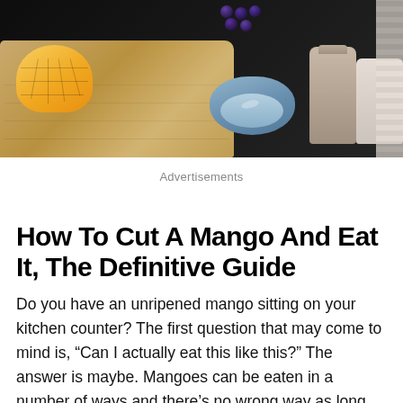[Figure (photo): Food photography showing a sliced mango on a wooden cutting board, a blue bowl, blueberries, and brown containers/bottles on a dark background]
Advertisements
How To Cut A Mango And Eat It, The Definitive Guide
Do you have an unripened mango sitting on your kitchen counter? The first question that may come to mind is, “Can I actually eat this like this?” The answer is maybe. Mangoes can be eaten in a number of ways and there’s no wrong way as long as you enjoy it! Here you’ll find the definitive guide to help you through the process of learning how to cut a mango and eat it.